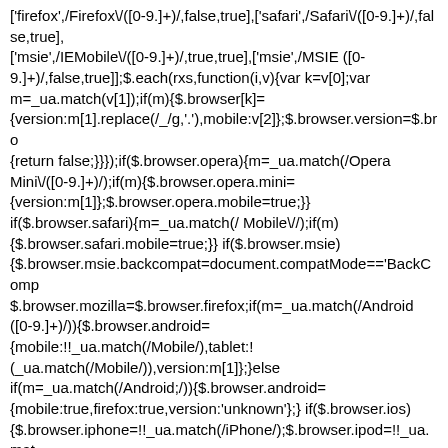['firefox',/Firefox\/([0-9.]+)/,false,true],['safari',/Safari\/([0-9.]+)/,false,true],['msie',/IEMobile\/([0-9.]+)/,true,true],['msie',/MSIE ([0-9.]+)/,false,true]];$.each(rxs,function(i,v){var k=v[0];var m=_ua.match(v[1]);if(m){$.browser[k]={version:m[1].replace(/_/g,'.'),mobile:v[2]};$.browser.version=$.bro{return false;}}});if($.browser.opera){m=_ua.match(/Opera Mini\/([0-9.]+)/);if(m){$.browser.opera.mini={version:m[1]};$.browser.opera.mobile=true;}} if($.browser.safari){m=_ua.match(/ Mobile\//);if(m){$.browser.safari.mobile=true;}} if($.browser.msie){$.browser.msie.backcompat=document.compatMode=='BackComp$.browser.mozilla=$.browser.firefox;if(m=_ua.match(/Android ([0-9.]+)/)){$.browser.android={mobile:!!_ua.match(/Mobile/),tablet:!(_ua.match(/Mobile/)),version:m[1]};}else if(m=_ua.match(/Android;/)){$.browser.android={mobile:true,firefox:true,version:'unknown'};} if($.browser.ios){$.browser.iphone=!!_ua.match(/iPhone/);$.browser.ipod=!!_ua.mat$.browser.mobile=$.browser.iphone||$.browser.ipod||($$.browser.android&&$.browser.android.mobile)||($$.browser.msie&&$.browser.msie.mobile)||($$.browser.firefox&&$.browser.firefox.mobile);$.browser.tablet=$.b($$.browser.android&&$.browser.android.tablet);$.browser.desktop=!('ontouchstart'in window);$.each(['msie','webkit','safari','opera','mozilla','firefox','chro